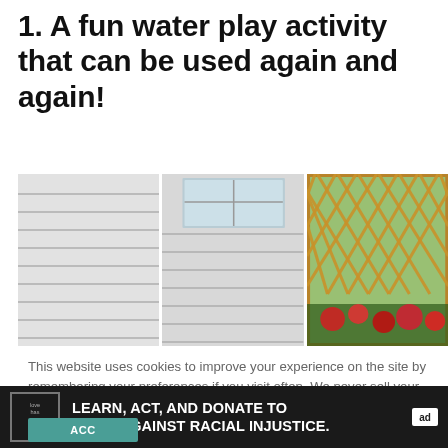1. A fun water play activity that can be used again and again!
[Figure (photo): Three side-by-side outdoor photos showing white vinyl house siding panels, a window on siding, and a wooden lattice fence with red flowers]
This website uses cookies to improve your experience on the site by remembering your preferences if you visit often. We never sell your information or use your email address for anything other than user login or our newsletter (if you sign up for it).
LEARN, ACT, AND DONATE TO FIGHT AGAINST RACIAL INJUSTICE.